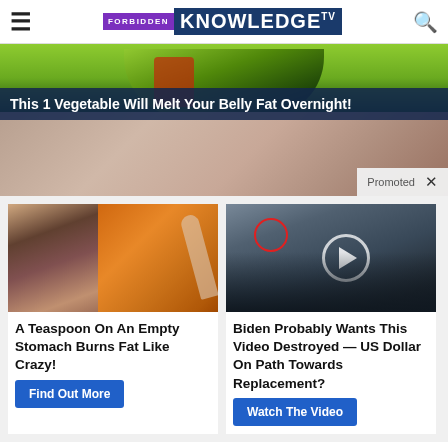FORBIDDEN KNOWLEDGE TV
[Figure (photo): Top advertisement banner: green athletic jersey at top, close-up of nose/face at bottom, with text overlay 'This 1 Vegetable Will Melt Your Belly Fat Overnight!' and a 'Promoted' label]
This 1 Vegetable Will Melt Your Belly Fat Overnight!
[Figure (photo): Left card: fitness person and spice on a teaspoon]
A Teaspoon On An Empty Stomach Burns Fat Like Crazy!
Find Out More
[Figure (photo): Right card: group of people in formal wear at CIA-style setting with video play button overlay]
Biden Probably Wants This Video Destroyed — US Dollar On Path Towards Replacement?
Watch The Video